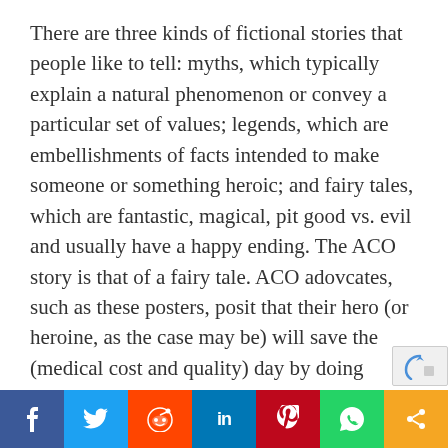There are three kinds of fictional stories that people like to tell: myths, which typically explain a natural phenomenon or convey a particular set of values; legends, which are embellishments of facts intended to make someone or something heroic; and fairy tales, which are fantastic, magical, pit good vs. evil and usually have a happy ending. The ACO story is that of a fairy tale. ACO adovcates, such as these posters, posit that their hero (or heroine, as the case may be) will save the (medical cost and quality) day by doing something that medical care providers have heretofore never done: effectively manage both clinical risk and finances.
The concept of ACOs — dropping bags of money
[Figure (other): Social sharing bar with buttons: Facebook, Twitter, Reddit, LinkedIn, Pinterest, WhatsApp, Share]